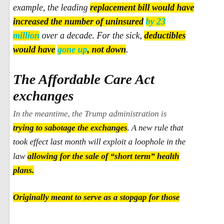example, the leading replacement bill would have increased the number of uninsured by 23 million over a decade. For the sick, deductibles would have gone up, not down.
The Affordable Care Act exchanges
In the meantime, the Trump administration is trying to sabotage the exchanges. A new rule that took effect last month will exploit a loophole in the law allowing for the sale of “short term” health plans.
Originally meant to serve as a stopgap for those